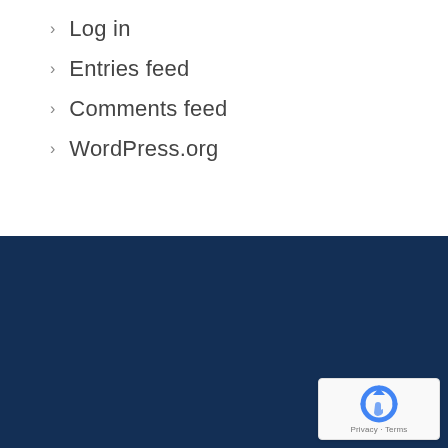Log in
Entries feed
Comments feed
WordPress.org
[Figure (logo): Google reCAPTCHA badge with circular arrow icon and Privacy · Terms text]